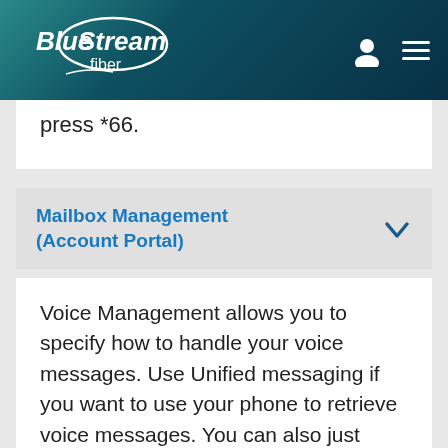Blue Stream fiber
press *66.
Mailbox Management (Account Portal)
Voice Management allows you to specify how to handle your voice messages. Use Unified messaging if you want to use your phone to retrieve voice messages. You can also just choose to send the message